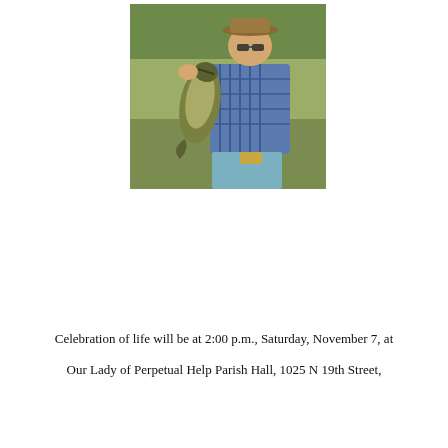[Figure (photo): A young person wearing a cowboy hat and sunglasses, holding up a large bass fish with both hands, outdoors near grass and trees. Wearing a plaid shirt and jeans with a belt buckle.]
Celebration of life will be at 2:00 p.m., Saturday, November 7, at Our Lady of Perpetual Help Parish Hall, 1025 N 19th Street,